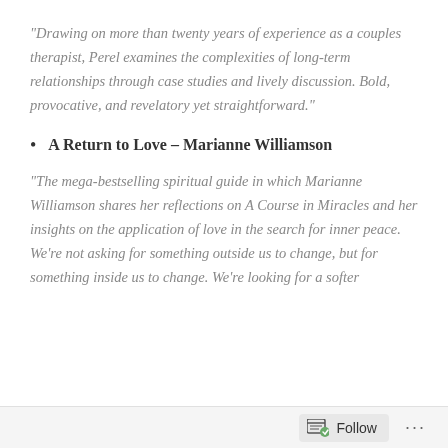“Drawing on more than twenty years of experience as a couples therapist, Perel examines the complexities of long-term relationships through case studies and lively discussion. Bold, provocative, and revelatory yet straightforward.”
A Return to Love – Marianne Williamson
“The mega-bestselling spiritual guide in which Marianne Williamson shares her reflections on A Course in Miracles and her insights on the application of love in the search for inner peace. We’re not asking for something outside us to change, but for something inside us to change. We’re looking for a softer
Follow